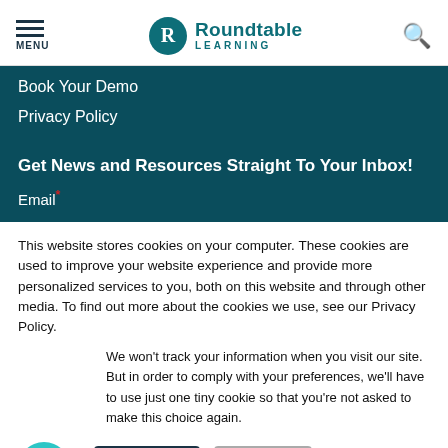MENU | Roundtable Learning
Book Your Demo
Privacy Policy
Get News and Resources Straight To Your Inbox!
Email*
This website stores cookies on your computer. These cookies are used to improve your website experience and provide more personalized services to you, both on this website and through other media. To find out more about the cookies we use, see our Privacy Policy.
We won't track your information when you visit our site. But in order to comply with your preferences, we'll have to use just one tiny cookie so that you're not asked to make this choice again.